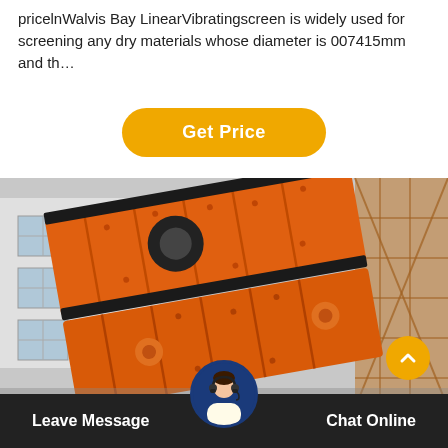pricelnWalvis Bay LinearVibratingscreen is widely used for screening any dry materials whose diameter is 007415mm and th…
Get Price
[Figure (photo): Large orange industrial linear vibrating screen machine outdoors, with black mechanical components visible, beside a metal scaffolding structure. Factory building with windows visible in background.]
Leave Message
Chat Online